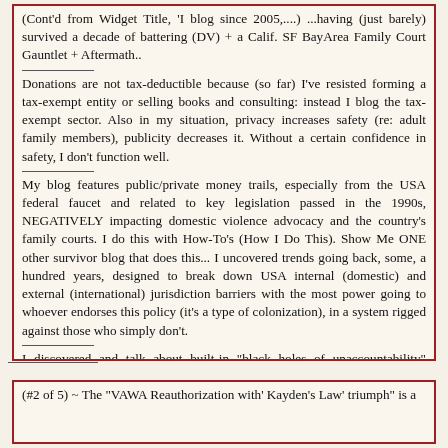(Cont'd from Widget Title, 'I blog since 2005,....) ...having (just barely) survived a decade of battering (DV) + a Calif. SF BayArea Family Court Gauntlet + Aftermath..
Donations are not tax-deductible because (so far) I've resisted forming a tax-exempt entity or selling books and consulting: instead I blog the tax-exempt sector. Also in my situation, privacy increases safety (re: adult family members), publicity decreases it. Without a certain confidence in safety, I don't function well.
My blog features public/private money trails, especially from the USA federal faucet and related to key legislation passed in the 1990s, NEGATIVELY impacting domestic violence advocacy and the country's family courts. I do this with How-To's (How I Do This). Show Me ONE other survivor blog that does this... I uncovered trends going back, some, a hundred years, designed to break down USA internal (domestic) and external (international) jurisdiction barriers with the most power going to whoever endorses this policy (it's a type of colonization), in a system rigged against those who simply don't.
I discovered and talk about built-in "black holes of unaccountability" system-wide.
...but, I am a senior facing yet another imminent housing move and all associated costs, mid-May, 2022... as before, without credit and without job stability. I still do not have a destination (new housing) or even know whether to stay in the same city (unlikely), or state. But certain FamilyCourt / abuse prevention policy issues don't wait for individuals' convenience: See hashtags #FamilyCourtReformists #NFVLCgwu and #NSPC (NationalSafeParents.org, website released only Feb. 4, 2022) on my Twitter.
(#2 of 5) ~ The "VAWA Reauthorization with' Kayden's Law' triumph" is a